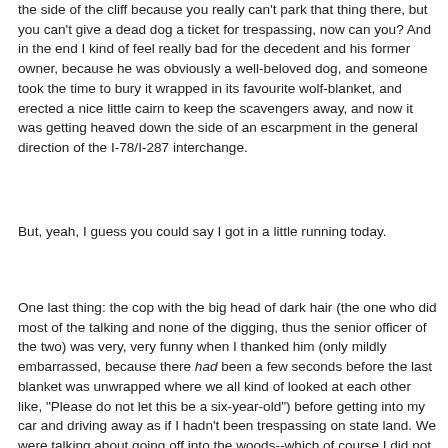the side of the cliff because you really can't park that thing there, but you can't give a dead dog a ticket for trespassing, now can you? And in the end I kind of feel really bad for the decedent and his former owner, because he was obviously a well-beloved dog, and someone took the time to bury it wrapped in its favourite wolf-blanket, and erected a nice little cairn to keep the scavengers away, and now it was getting heaved down the side of an escarpment in the general direction of the I-78/I-287 interchange.
But, yeah, I guess you could say I got in a little running today.
One last thing: the cop with the big head of dark hair (the one who did most of the talking and none of the digging, thus the senior officer of the two) was very, very funny when I thanked him (only mildly embarrassed, because there had been a few seconds before the last blanket was unwrapped where we all kind of looked at each other like, "Please do not let this be a six-year-old") before getting into my car and driving away as if I hadn't been trespassing on state land. We were talking about going off into the woods--which of course I did not do, having spied this mysterious shallow